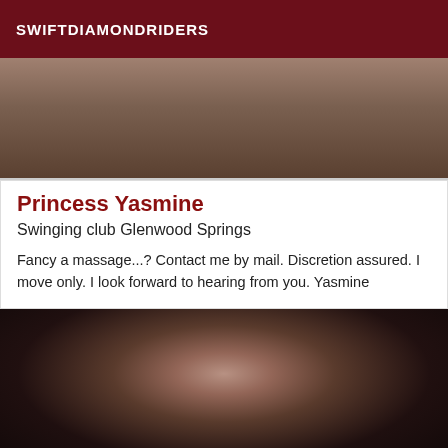SWIFTDIAMONDRIDERS
[Figure (photo): Partial body close-up photo, warm brownish tones, top portion of card image]
Princess Yasmine
Swinging club Glenwood Springs
Fancy a massage...? Contact me by mail. Discretion assured. I move only. I look forward to hearing from you. Yasmine
[Figure (photo): Dark artistic body photo showing person in black lingerie with dark background]